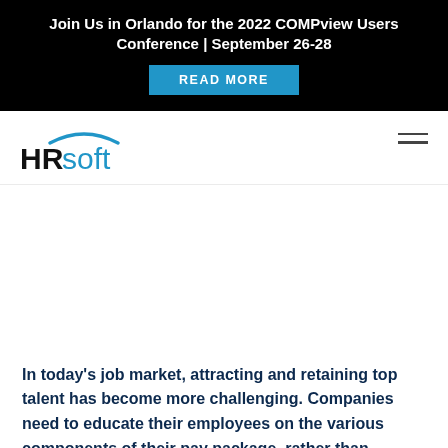Join Us in Orlando for the 2022 COMPview Users Conference | September 26-28
READ MORE
[Figure (logo): HRsoft logo with blue arc above text]
In today's job market, attracting and retaining top talent has become more challenging. Companies need to educate their employees on the various components of their pay package, rather than assuming they